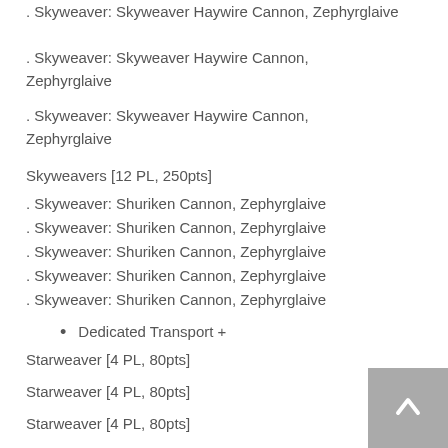. Skyweaver: Skyweaver Haywire Cannon, Zephyrglaive
. Skyweaver: Skyweaver Haywire Cannon, Zephyrglaive
Skyweavers [12 PL, 250pts]
. Skyweaver: Shuriken Cannon, Zephyrglaive
. Skyweaver: Shuriken Cannon, Zephyrglaive
. Skyweaver: Shuriken Cannon, Zephyrglaive
. Skyweaver: Shuriken Cannon, Zephyrglaive
. Skyweaver: Shuriken Cannon, Zephyrglaive
Dedicated Transport +
Starweaver [4 PL, 80pts]
Starweaver [4 PL, 80pts]
Starweaver [4 PL, 80pts]